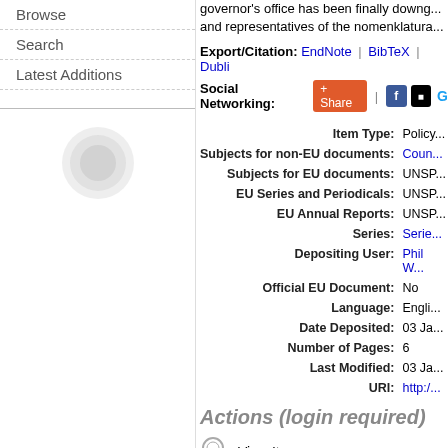Browse
Search
Latest Additions
governor's office has been finally downg... and representatives of the nomenklatura...
Export/Citation: EndNote | BibTeX | Dublin...
Social Networking: Share | Facebook | Twitter...
| Field | Value |
| --- | --- |
| Item Type: | Policy... |
| Subjects for non-EU documents: | Coun... |
| Subjects for EU documents: | UNSP... |
| EU Series and Periodicals: | UNSP... |
| EU Annual Reports: | UNSP... |
| Series: | Serie... |
| Depositing User: | Phil W... |
| Official EU Document: | No |
| Language: | Engli... |
| Date Deposited: | 03 Ja... |
| Number of Pages: | 6 |
| Last Modified: | 03 Ja... |
| URI: | http://... |
Actions (login required)
View Item